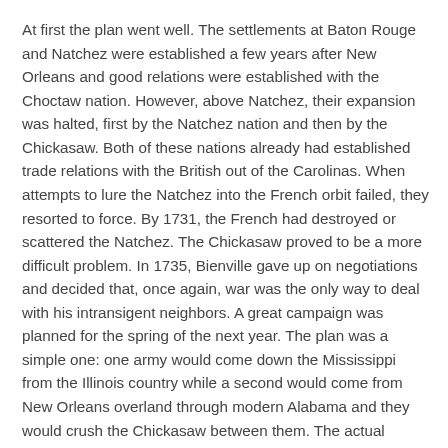At first the plan went well. The settlements at Baton Rouge and Natchez were established a few years after New Orleans and good relations were established with the Choctaw nation. However, above Natchez, their expansion was halted, first by the Natchez nation and then by the Chickasaw. Both of these nations already had established trade relations with the British out of the Carolinas. When attempts to lure the Natchez into the French orbit failed, they resorted to force. By 1731, the French had destroyed or scattered the Natchez. The Chickasaw proved to be a more difficult problem. In 1735, Bienville gave up on negotiations and decided that, once again, war was the only way to deal with his intransigent neighbors. A great campaign was planned for the spring of the next year. The plan was a simple one: one army would come down the Mississippi from the Illinois country while a second would come from New Orleans overland through modern Alabama and they would crush the Chickasaw between them. The actual campaign was a miserable failure. The two armies failed to coordinate their actions and the Chickasaw defeated them one at a time inflicting a great number of casualties on the French.